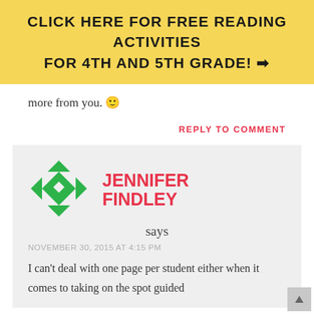[Figure (infographic): Yellow banner with bold text: CLICK HERE FOR FREE READING ACTIVITIES FOR 4TH AND 5TH GRADE! with right arrow]
more from you. 🙂
REPLY TO COMMENT
[Figure (logo): Jennifer Findley geometric green logo]
JENNIFER FINDLEY says
NOVEMBER 30, 2015 AT 4:15 PM
I can't deal with one page per student either when it comes to taking on the spot guided